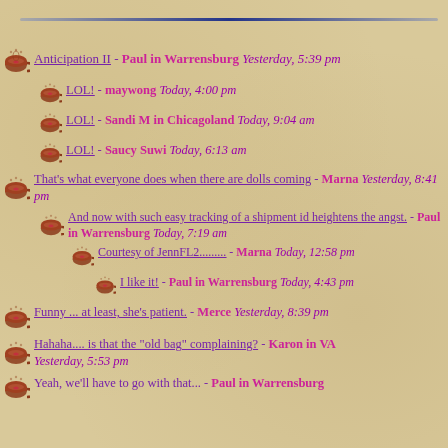Anticipation II - Paul in Warrensburg Yesterday, 5:39 pm
LOL! - maywong Today, 4:00 pm
LOL! - Sandi M in Chicagoland Today, 9:04 am
LOL! - Saucy Suwi Today, 6:13 am
That's what everyone does when there are dolls coming - Marna Yesterday, 8:41 pm
And now with such easy tracking of a shipment id heightens the angst. - Paul in Warrensburg Today, 7:19 am
Courtesy of JennFL2.......... - Marna Today, 12:58 pm
I like it! - Paul in Warrensburg Today, 4:43 pm
Funny ... at least, she's patient. - Merce Yesterday, 8:39 pm
Hahaha.... is that the "old bag" complaining? - Karon in VA Yesterday, 5:53 pm
Yeah, we'll have to go with that... - Paul in Warrensburg